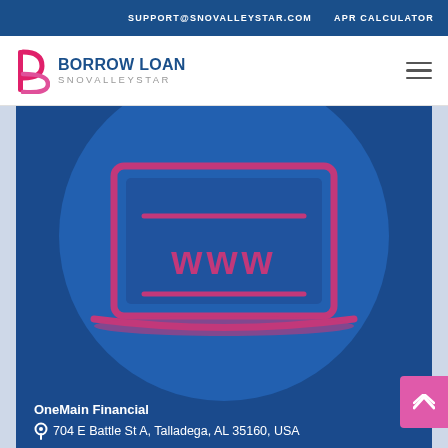SUPPORT@SNOVALLEYSTAR.COM   APR CALCULATOR
[Figure (logo): Borrow Loan SnoValleyStar logo with stylized 'b' icon in pink/magenta and blue text reading BORROW LOAN SNOVALLEYSTAR]
[Figure (illustration): Laptop computer outline illustration in magenta/pink on a blue circular background showing 'www' text on screen, representing an online loan website]
OneMain Financial
704 E Battle St A, Talladega, AL 35160, USA